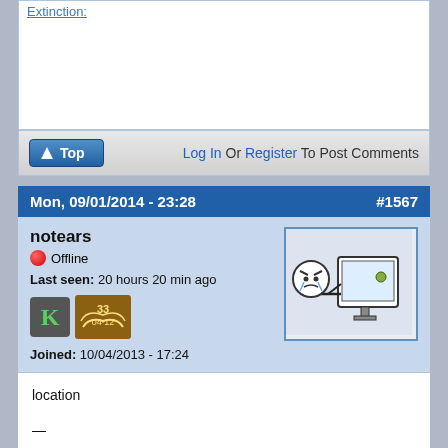Extinction:
Log In Or Register To Post Comments
Mon, 09/01/2014 - 23:28   #1567
notears
Offline
Last seen: 20 hours 20 min ago
Joined: 10/04/2013 - 17:24
[Figure (illustration): Rage face / notears meme: stick figure crying into computer monitor]
location

—

not my video just one I lke ===>